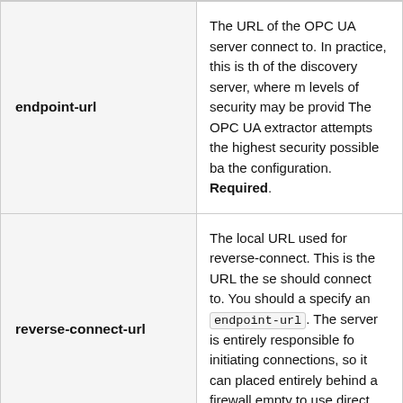| Parameter | Description |
| --- | --- |
| endpoint-url | The URL of the OPC UA server connect to. In practice, this is the of the discovery server, where multiple levels of security may be provided. The OPC UA extractor attempts the highest security possible based on the configuration. Required. |
| reverse-connect-url | The local URL used for reverse-connect. This is the URL the server should connect to. You should also specify an endpoint-url. The server is entirely responsible for initiating connections, so it can be placed entirely behind a firewall. empty to use direct connections |